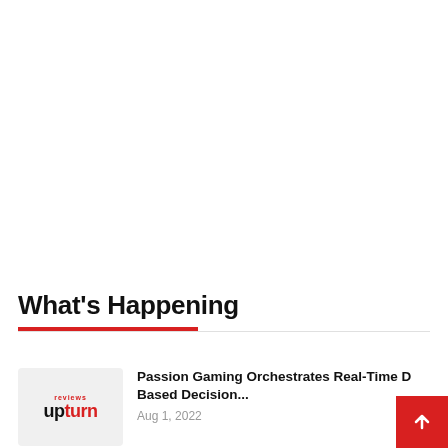What's Happening
Passion Gaming Orchestrates Real-Time D Based Decision... Aug 1, 2022